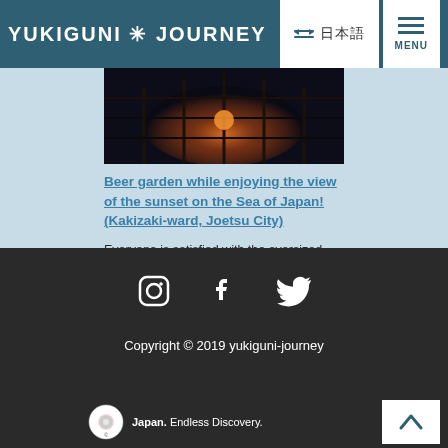YUKIGUNI ✳ JOURNEY
[Figure (photo): Sunset photo viewed through a greenhouse or structure, orange sky]
Beer garden while enjoying the view of the sunset on the Sea of Japan! (Kakizaki-ward, Joetsu City)
Everyone is satisfied with the oversized portions! The Sunset Beer Garden, where you can enjoy drinks and foods while enjoying...
[Figure (illustration): Social media icons: Instagram, Facebook, Twitter]
Copyright © 2019 yukiguni-journey
Japan. Endless Discovery.